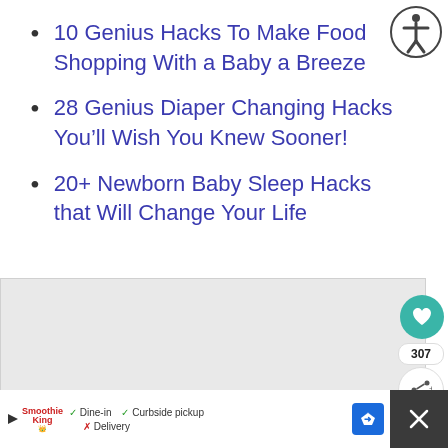10 Genius Hacks To Make Food Shopping With a Baby a Breeze
28 Genius Diaper Changing Hacks You&#8217;ll Wish You Knew Sooner!
20+ Newborn Baby Sleep Hacks that Will Change Your Life
[Figure (other): Gray advertisement placeholder box with heart button (307 likes), share button, and social interaction icons on the right side]
[Figure (other): Bottom advertisement bar: Smoothie King ad showing Dine-in, Curbside pickup, Delivery options with map icon, and close button]